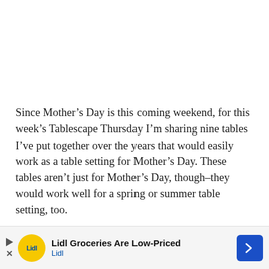Since Mother’s Day is this coming weekend, for this week’s Tablescape Thursday I’m sharing nine tables I’ve put together over the years that would easily work as a table setting for Mother’s Day. These tables aren’t just for Mother’s Day, though–they would work well for a spring or summer table setting, too.
This is going to be a really strange Mother’s Day for so many because even though their mothers may still be here, they may not actually be able to see or visit them. Hopefully, when Mother’s Day rolls around next year, things will be a lot more...
[Figure (other): Advertisement banner for Lidl Groceries Are Low-Priced, showing Lidl logo and navigation arrow]